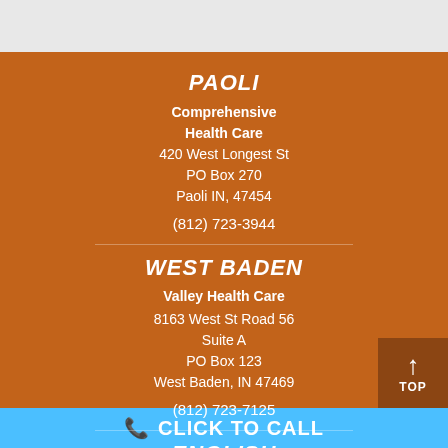PAOLI
Comprehensive Health Care
420 West Longest St
PO Box 270
Paoli IN, 47454
(812) 723-3944
WEST BADEN
Valley Health Care
8163 West St Road 56
Suite A
PO Box 123
West Baden, IN 47469
(812) 723-7125
ENGLISH
Patoka Family Health Care
307 South Indiana Ave
📞 CLICK TO CALL